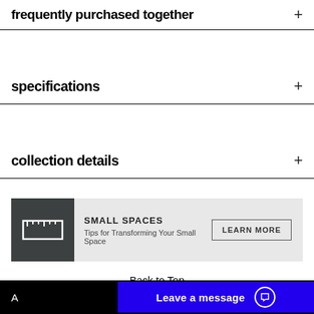frequently purchased together
specifications
collection details
[Figure (infographic): Small Spaces promotional banner with ruler icon, title 'SMALL SPACES', subtitle 'Tips for Transforming Your Small Space', and a 'LEARN MORE' button]
Back to Top
Similar search terms: Dining Chair, Dining Room Chairs, Arm Chair, Dining Arm Chair, Side Chair, Dining Side Chair, Dining
Leave a message